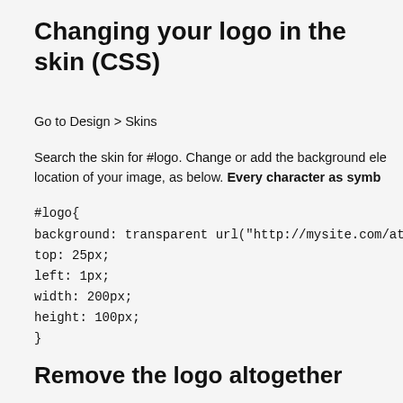Changing your logo in the skin (CSS)
Go to Design > Skins
Search the skin for #logo. Change or add the background element to the location of your image, as below. Every character as symb...
#logo{
background: transparent url("http://mysite.com/attachment/1...
top: 25px;
left: 1px;
width: 200px;
height: 100px;
}
Remove the logo altogether
If you just want to remove the logo, you can comment out th...
#logo{
/*background: transparent url("http://mysite.com/attachmen...